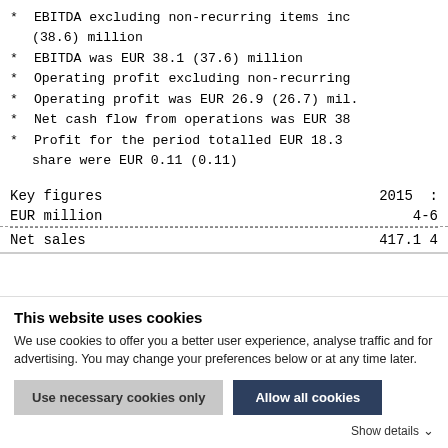* EBITDA excluding non-recurring items inc (38.6) million
* EBITDA was EUR 38.1 (37.6) million
* Operating profit excluding non-recurring
* Operating profit was EUR 26.9 (26.7) mil.
* Net cash flow from operations was EUR 38
* Profit for the period totalled EUR 18.3 share were EUR 0.11 (0.11)
| Key figures | 2015 |  |
| --- | --- | --- |
| EUR million | 4-6 |  |
| Net sales | 417.1 | 4 |
This website uses cookies
We use cookies to offer you a better user experience, analyse traffic and for advertising. You may change your preferences below or at any time later.
Use necessary cookies only | Allow all cookies
Show details